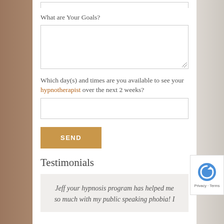What are Your Goals?
Which day(s) and times are you available to see your hypnotherapist over the next 2 weeks?
SEND
Testimonials
Jeff your hypnosis program has helped me so much with my public speaking phobia! I